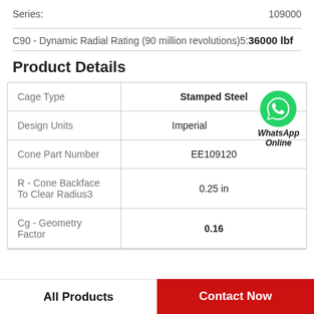Series: 109000
C90 - Dynamic Radial Rating (90 million revolutions)5: 36000 lbf
Product Details
|  |  |
| --- | --- |
| Cage Type | Stamped Steel |
| Design Units | Imperial |
| Cone Part Number | EE109120 |
| R - Cone Backface To Clear Radius3 | 0.25 in |
| Cg - Geometry Factor | 0.16 |
All Products
Contact Now